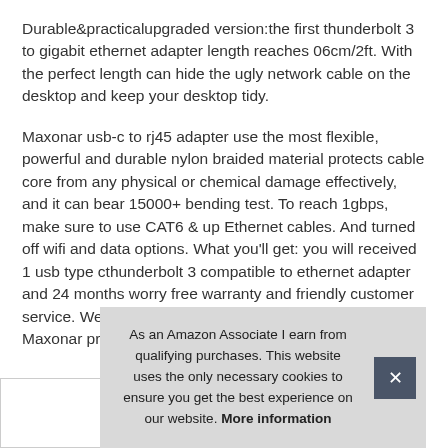Durable&practicalupgraded version:the first thunderbolt 3 to gigabit ethernet adapter length reaches 06cm/2ft. With the perfect length can hide the ugly network cable on the desktop and keep your desktop tidy.
Maxonar usb-c to rj45 adapter use the most flexible, powerful and durable nylon braided material protects cable core from any physical or chemical damage effectively, and it can bear 15000+ bending test. To reach 1gbps, make sure to use CAT6 & up Ethernet cables. And turned off wifi and data options. What you'll get: you will received 1 usb type cthunderbolt 3 compatible to ethernet adapter and 24 months worry free warranty and friendly customer service. We also provide lifetime tech support for all Maxonar products
As an Amazon Associate I earn from qualifying purchases. This website uses the only necessary cookies to ensure you get the best experience on our website. More information